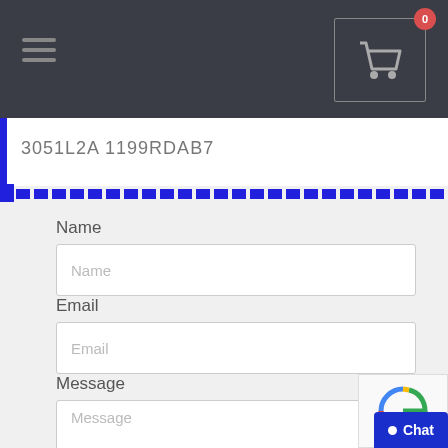[Figure (screenshot): Top navigation bar with dark background, hamburger menu icon on left, shopping cart icon with badge showing 0 on right]
3051L2A 1199RDAB7
[Figure (other): Blue dashed horizontal divider line]
Name
Name
Email
Email
Message
Message
[Figure (other): reCAPTCHA widget partially visible in bottom right corner]
Chat